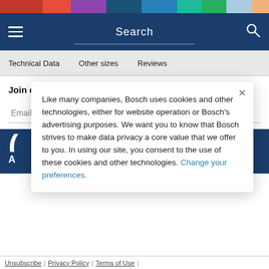[Figure (screenshot): Colored horizontal bar strip at the top of the page with segments in dark red, red, purple, dark blue, medium blue, teal, green, light blue, and orange]
Search
Technical Data  Other sizes  Reviews
Join our mailing list
Email Address
Like many companies, Bosch uses cookies and other technologies, either for website operation or Bosch's advertising purposes. We want you to know that Bosch strives to make data privacy a core value that we offer to you. In using our site, you consent to the use of these cookies and other technologies. Change your preferences.
Unsubscribe | Privacy Policy | Terms of Use